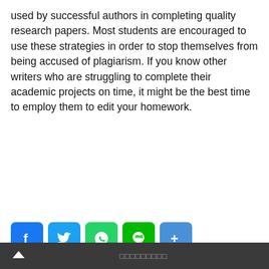used by successful authors in completing quality research papers. Most students are encouraged to use these strategies in order to stop themselves from being accused of plagiarism. If you know other writers who are struggling to complete their academic projects on time, it might be the best time to employ them to edit your homework.
[Figure (infographic): Social share buttons: Facebook (blue), Twitter (light blue), WhatsApp (green), LINE (bright green), Share/More (blue)]
□□□□□□□□□
□□□□□□□□□
□□□□□□□□□
□□□□□□□□□